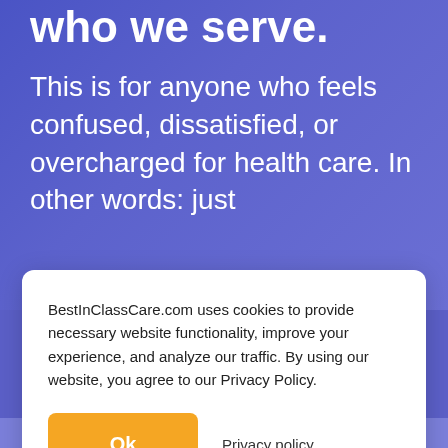who we serve.
This is for anyone who feels confused, dissatisfied, or overcharged for health care. In other words: just
BestInClassCare.com uses cookies to provide necessary website functionality, improve your experience, and analyze our traffic. By using our website, you agree to our Privacy Policy.
Ok
Privacy policy